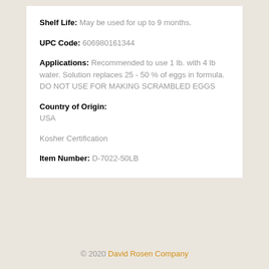Shelf Life: May be used for up to 9 months.
UPC Code: 606980161344
Applications: Recommended to use 1 lb. with 4 lb water. Solution replaces 25 - 50 % of eggs in formula. DO NOT USE FOR MAKING SCRAMBLED EGGS
Country of Origin:
USA
Kosher Certification
Item Number: D-7022-50LB
© 2020 David Rosen Company